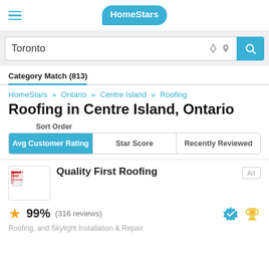[Figure (logo): HomeStars logo in a blue speech bubble]
Toronto
Category Match (813)
HomeStars » Ontario » Centre Island » Roofing
Roofing in Centre Island, Ontario
Sort Order
Avg Customer Rating | Star Score | Recently Reviewed
Quality First Roofing
99% (316 reviews)
Roofing, and Skylight Installation & Repair